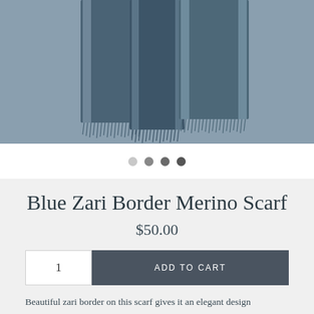[Figure (photo): Blue merino scarf with zari (metallic) border hanging against a grey background, showing fringe detail at the bottom edges]
• • • •
Blue Zari Border Merino Scarf
$50.00
1   ADD TO CART
Beautiful zari border on this scarf gives it an elegant design